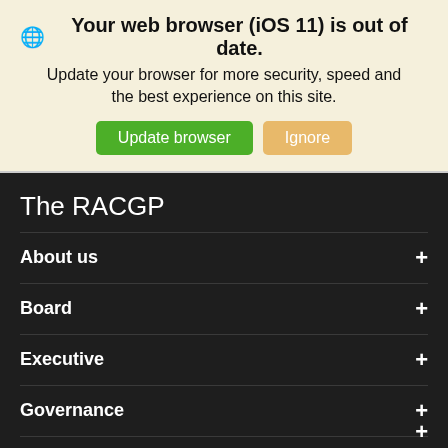🌐 Your web browser (iOS 11) is out of date. Update your browser for more security, speed and the best experience on this site.
Update browser | Ignore
The RACGP
About us
Board
Executive
Governance
History
Awards and Grants
Careers
RACGP Elections